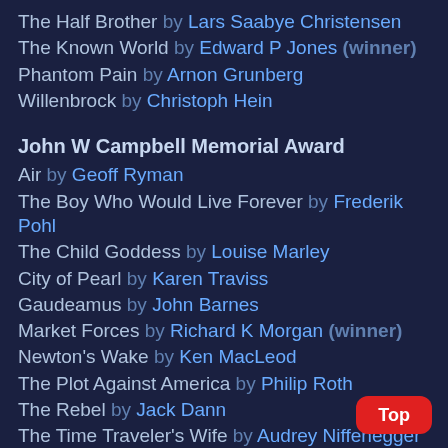The Half Brother by Lars Saabye Christensen
The Known World by Edward P Jones (winner)
Phantom Pain by Arnon Grunberg
Willenbrock by Christoph Hein
John W Campbell Memorial Award
Air by Geoff Ryman
The Boy Who Would Live Forever by Frederik Pohl
The Child Goddess by Louise Marley
City of Pearl by Karen Traviss
Gaudeamus by John Barnes
Market Forces by Richard K Morgan (winner)
Newton's Wake by Ken MacLeod
The Plot Against America by Philip Roth
The Rebel by Jack Dann
The Time Traveler's Wife by Audrey Niffenegger
The Well of Stars by Robert Reed
White Devils by Paul McAuley